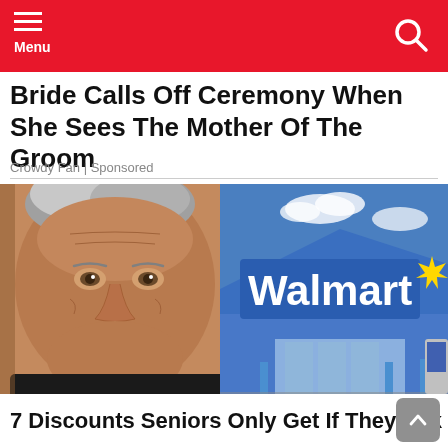Menu
Bride Calls Off Ceremony When She Sees The Mother Of The Groom
Crowdy Fan | Sponsored
[Figure (photo): Composite image of an elderly person's face on the left and a Walmart store exterior on the right with 'Walmart' sign and spark logo]
7 Discounts Seniors Only Get If They Ask